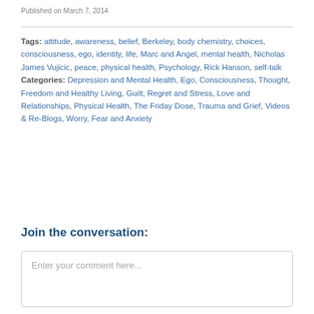Published on March 7, 2014
Tags: attitude, awareness, belief, Berkeley, body chemistry, choices, consciousness, ego, identity, life, Marc and Angel, mental health, Nicholas James Vujicic, peace, physical health, Psychology, Rick Hanson, self-talk Categories: Depression and Mental Health, Ego, Consciousness, Thought, Freedom and Healthy Living, Guilt, Regret and Stress, Love and Relationships, Physical Health, The Friday Dose, Trauma and Grief, Videos & Re-Blogs, Worry, Fear and Anxiety
Join the conversation:
Enter your comment here...